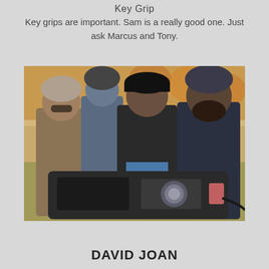Key Grip
Key grips are important. Sam is a really good one. Just ask Marcus and Tony.
[Figure (photo): Four people gathered outdoors in a park during autumn, looking at a piece of film equipment (a monitor/video village setup). They are wearing winter hats and jackets. Trees with fall foliage are visible in the background.]
DAVID JOAN